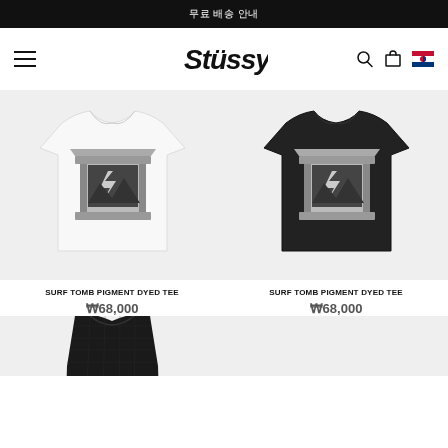무료 배송 안내
[Figure (logo): Stüssy script logo in black]
[Figure (photo): White t-shirt with Surf Tomb Pigment Dyed Tee graphic on back]
SURF TOMB PIGMENT DYED TEE
₩68,000
[Figure (photo): Black t-shirt with Surf Tomb Pigment Dyed Tee graphic on back]
SURF TOMB PIGMENT DYED TEE
₩68,000
[Figure (photo): Black tank top, partially visible at bottom of page]